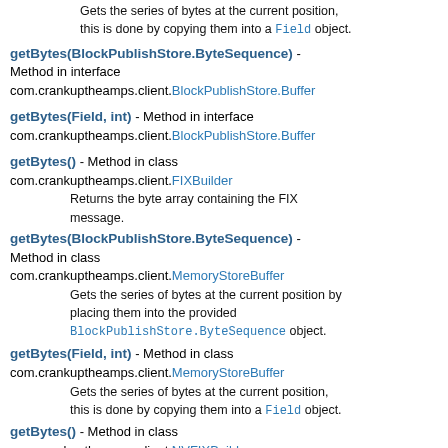Gets the series of bytes at the current position, this is done by copying them into a Field object.
getBytes(BlockPublishStore.ByteSequence) - Method in interface com.crankuptheamps.client.BlockPublishStore.Buffer
getBytes(Field, int) - Method in interface com.crankuptheamps.client.BlockPublishStore.Buffer
getBytes() - Method in class com.crankuptheamps.client.FIXBuilder
Returns the byte array containing the FIX message.
getBytes(BlockPublishStore.ByteSequence) - Method in class com.crankuptheamps.client.MemoryStoreBuffer
Gets the series of bytes at the current position by placing them into the provided BlockPublishStore.ByteSequence object.
getBytes(Field, int) - Method in class com.crankuptheamps.client.MemoryStoreBuffer
Gets the series of bytes at the current position, this is done by copying them into a Field object.
getBytes() - Method in class com.crankuptheamps.client.NVFIXBuilder
Returns the byte array containing the NVFIX message.